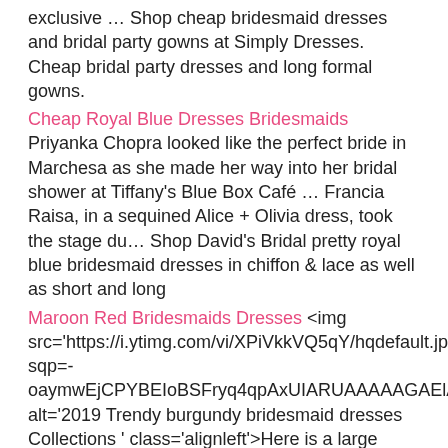exclusive … Shop cheap bridesmaid dresses and bridal party gowns at Simply Dresses. Cheap bridal party dresses and long formal gowns.
Cheap Royal Blue Dresses Bridesmaids Priyanka Chopra looked like the perfect bride in Marchesa as she made her way into her bridal shower at Tiffany's Blue Box Café … Francia Raisa, in a sequined Alice + Olivia dress, took the stage du… Shop David's Bridal pretty royal blue bridesmaid dresses in chiffon & lace as well as short and long
Maroon Red Bridesmaids Dresses <img src='https://i.ytimg.com/vi/XPiVkkVQ5qY/hqdefault.jpg?sqp=-oaymwEjCPYBEIoBSFryq4qpAxUIARUAAAAAGAElAADIQj0AgKJDea alt='2019 Trendy burgundy bridesmaid dresses Collections ' class='alignleft'>Here is a large collection of red dresses for your passionate bridesmaids. From deep red, apple red to coral pink, you will find the latest bridesmaid dresses in … Maroon Bridesmaid Dresses in 500+ styles long and short, under 100, includes maroon, burgundy, wine, rust etc., 150+
Bridesmaids Dresses Nyc Bella Bridesmaids loves a wedding! We have the largest collection of bridesmaid dresses from the world's leading designers in our Bella Showrooms. With hundreds of dresses to choose from, your personal Bella stylist is ready for